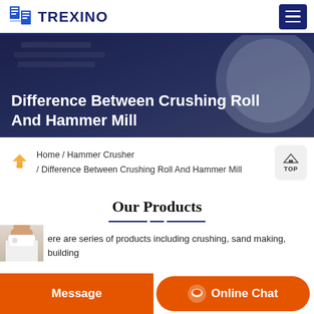Trexino
[Figure (screenshot): Hero banner with dark overlay showing industrial/workshop background with helmet]
Difference Between Crushing Roll And Hammer Mill
Home /  Hammer Crusher  /  Difference Between Crushing Roll And Hammer Mill
Our Products
ere are series of products including crushing, sand making, building
[Figure (photo): Customer service agent / chat representative photo]
Message
Online Chat